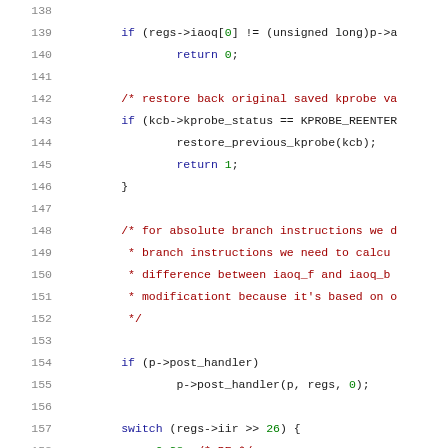[Figure (screenshot): Source code listing showing lines 138-159 of a C kernel module, with syntax highlighting: line numbers in gray, keywords in blue, comments in red, numeric literals in green.]